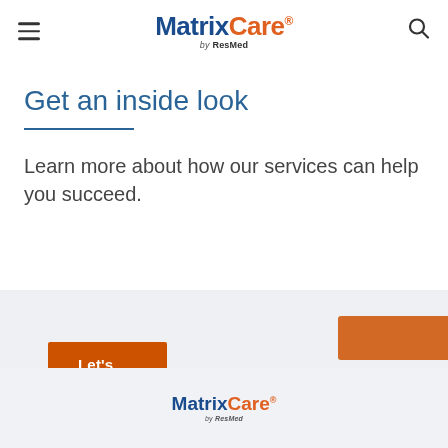[Figure (logo): MatrixCare by ResMed logo in header with hamburger menu and search icon]
Get an inside look
Learn more about how our services can help you succeed.
To ensure you get the best experience from our site we have updated our privacy notice to address new privacy laws in California.
[Figure (logo): MatrixCare by ResMed logo in footer]